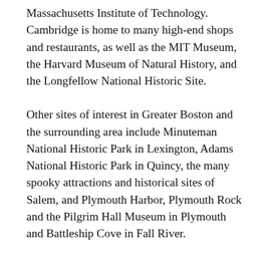Massachusetts Institute of Technology. Cambridge is home to many high-end shops and restaurants, as well as the MIT Museum, the Harvard Museum of Natural History, and the Longfellow National Historic Site.
Other sites of interest in Greater Boston and the surrounding area include Minuteman National Historic Park in Lexington, Adams National Historic Park in Quincy, the many spooky attractions and historical sites of Salem, and Plymouth Harbor, Plymouth Rock and the Pilgrim Hall Museum in Plymouth and Battleship Cove in Fall River.